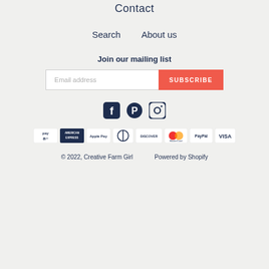Contact
Search
About us
Join our mailing list
Email address  SUBSCRIBE
[Figure (other): Social media icons: Facebook, Pinterest, Instagram]
[Figure (other): Payment method icons: Amazon Pay, American Express, Apple Pay, Diners Club, Discover, Mastercard, PayPal, Visa]
© 2022, Creative Farm Girl    Powered by Shopify